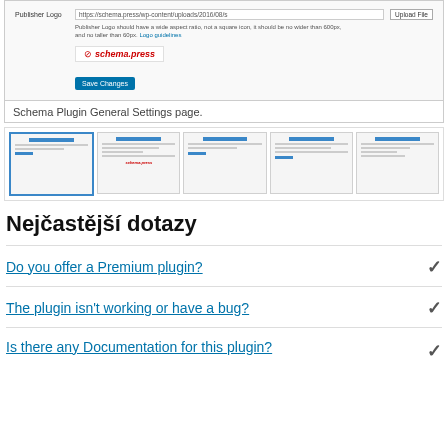[Figure (screenshot): WordPress plugin settings panel showing Publisher Logo field with URL input, Upload File button, logo guidelines help text, schema.press logo preview, and Save Changes button]
Schema Plugin General Settings page.
[Figure (screenshot): Row of 5 thumbnail screenshots showing different views of the Schema Plugin settings pages]
Nejčastější dotazy
Do you offer a Premium plugin?
The plugin isn't working or have a bug?
Is there any Documentation for this plugin?